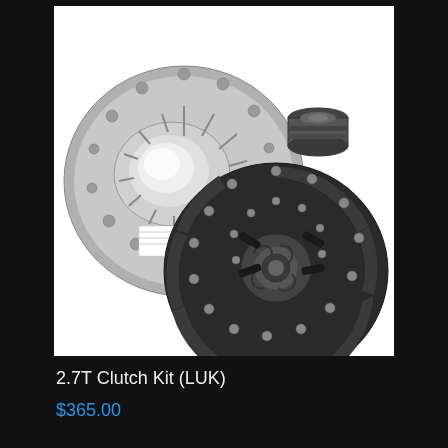[Figure (photo): A LUK clutch kit showing three components on a white background: a pressure plate assembly (large circular metal piece with springs, upper left), a clutch disc (dark circular friction plate, lower right), and a release bearing/slave cylinder (small cylindrical component, upper right).]
2.7T Clutch Kit (LUK)
$365.00